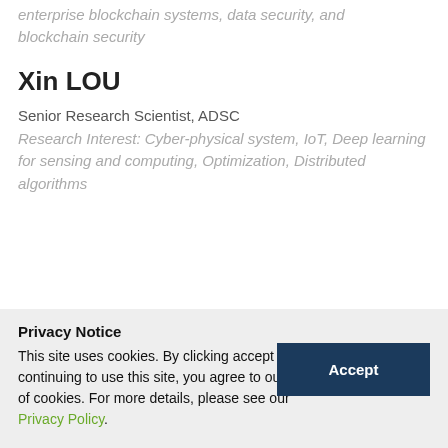enterprise blockchain systems, data security, and blockchain security
Xin LOU
Senior Research Scientist, ADSC
Research Interest: Cyber-physical system, IoT, Deep learning for sensing and computing, Optimization, Distributed algorithms
Privacy Notice
This site uses cookies. By clicking accept or continuing to use this site, you agree to our use of cookies. For more details, please see our Privacy Policy.